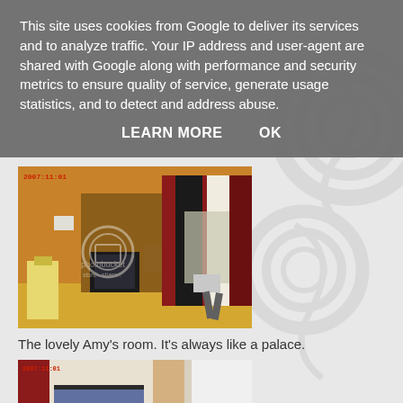This site uses cookies from Google to deliver its services and to analyze traffic. Your IP address and user-agent are shared with Google along with performance and security metrics to ensure quality of service, generate usage statistics, and to detect and address abuse.
LEARN MORE    OK
[Figure (photo): Indoor room photo showing a decorated bedroom with a colorful quilt/tapestry on the right side, furniture including what appears to be a TV or monitor, and warm orange/tan walls. Has a red date stamp '2007:11:01' in the top left and a Photobucket watermark overlay.]
The lovely Amy's room. It's always like a palace.
[Figure (photo): Partial indoor photo showing a person wearing a light-colored top and jeans, cropped at the bottom of the page. Has a red date stamp in the top left corner.]